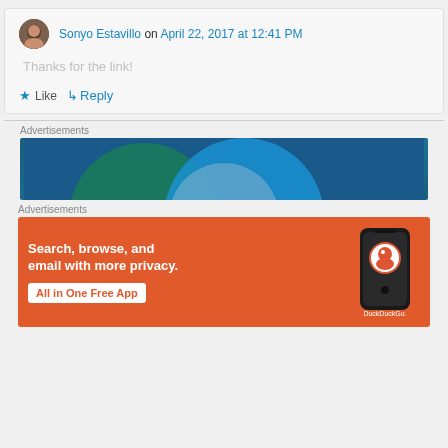Sonyo Estavillo on April 22, 2017 at 12:41 PM
Thanks for the link!
Like
↳ Reply
Advertisements
[Figure (other): DuckDuckGo advertisement banner with overlapping colored circles on dark blue background]
Advertisements
[Figure (other): DuckDuckGo orange advertisement banner: Search, browse, and email with more privacy. All in One Free App. Shows a phone with DuckDuckGo logo.]